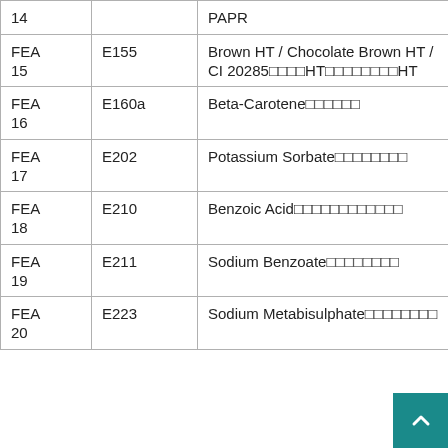| Code | E-Number | Name |
| --- | --- | --- |
| FEA 14 |  | PA…PR (truncated top row) |
| FEA 15 | E155 | Brown HT / Chocolate Brown HT / CI 20285 HT HT |
| FEA 16 | E160a | Beta-Carotene (with non-Latin text) |
| FEA 17 | E202 | Potassium Sorbate (with non-Latin text) |
| FEA 18 | E210 | Benzoic Acid (with non-Latin text) |
| FEA 19 | E211 | Sodium Benzoate (with non-Latin text) |
| FEA 20 | E223 | Sodium Metabisulphate (with non-Latin text) |